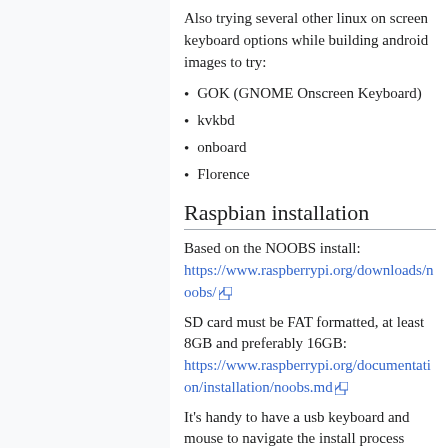Also trying several other linux on screen keyboard options while building android images to try:
GOK (GNOME Onscreen Keyboard)
kvkbd
onboard
Florence
Raspbian installation
Based on the NOOBS install: https://www.raspberrypi.org/downloads/noobs/
SD card must be FAT formatted, at least 8GB and preferably 16GB: https://www.raspberrypi.org/documentation/installation/noobs.md
It's handy to have a usb keyboard and mouse to navigate the install process once the prepared SD card is on the rPi